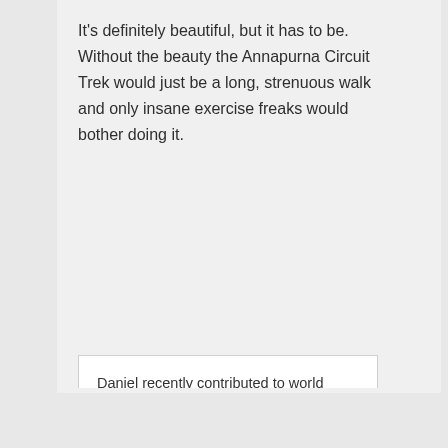It's definitely beautiful, but it has to be. Without the beauty the Annapurna Circuit Trek would just be a long, strenuous walk and only insane exercise freaks would bother doing it.
Daniel recently contributed to world literature by posting..Singing and Dancing in Malacca's Chinatown……Interferes With My Dinner 🕊
Reply